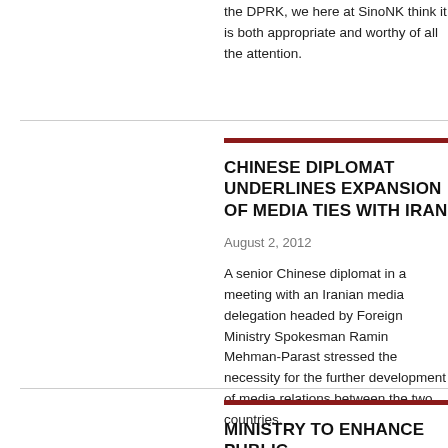the DPRK, we here at SinoNK think it is both appropriate and worthy of all the attention.
CHINESE DIPLOMAT UNDERLINES EXPANSION OF MEDIA TIES WITH IRAN
August 2, 2012
A senior Chinese diplomat in a meeting with an Iranian media delegation headed by Foreign Ministry Spokesman Ramin Mehman-Parast stressed the necessity for the further development of media relations between the two countries.
MINISTRY TO ENHANCE PUBLIC